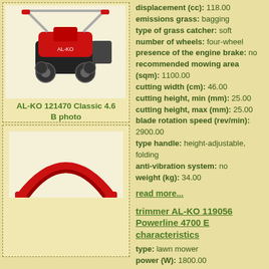[Figure (photo): Photo of AL-KO 121470 Classic 4.6 B lawn mower, red and black body with handle]
AL-KO 121470 Classic 4.6 B photo
displacement (cc): 118.00
emissions grass: bagging
type of grass catcher: soft
number of wheels: four-wheel
presence of the engine brake: no
recommended mowing area (sqm): 1100.00
cutting width (cm): 46.00
cutting height, min (mm): 25.00
cutting height, max (mm): 25.00
blade rotation speed (rev/min): 2900.00
type handle: height-adjustable, folding
anti-vibration system: no
weight (kg): 34.00
read more...
trimmer AL-KO 119056 Powerline 4700 E characteristics
[Figure (photo): Partial photo of AL-KO 119056 Powerline 4700 E trimmer, red handle visible]
type: lawn mower
power (W): 1800.00
power (hp): 1800.00